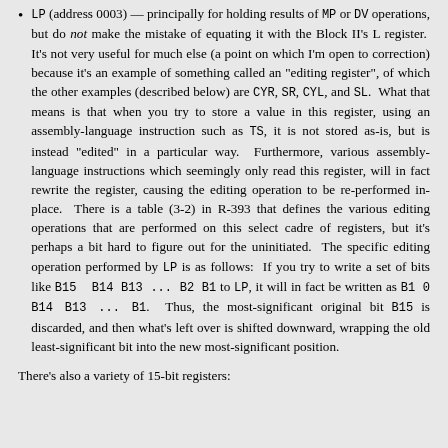LP (address 0003) — principally for holding results of MP or DV operations, but do not make the mistake of equating it with the Block II's L register. It's not very useful for much else (a point on which I'm open to correction) because it's an example of something called an "editing register", of which the other examples (described below) are CYR, SR, CYL, and SL. What that means is that when you try to store a value in this register, using an assembly-language instruction such as TS, it is not stored as-is, but is instead "edited" in a particular way. Furthermore, various assembly-language instructions which seemingly only read this register, will in fact rewrite the register, causing the editing operation to be re-performed in-place. There is a table (3-2) in R-393 that defines the various editing operations that are performed on this select cadre of registers, but it's perhaps a bit hard to figure out for the uninitiated. The specific editing operation performed by LP is as follows: If you try to write a set of bits like B15 B14 B13 ... B2 B1 to LP, it will in fact be written as B1 0 B14 B13 ... B1. Thus, the most-significant original bit B15 is discarded, and then what's left over is shifted downward, wrapping the old least-significant bit into the new most-significant position.
There's also a variety of 15-bit registers: